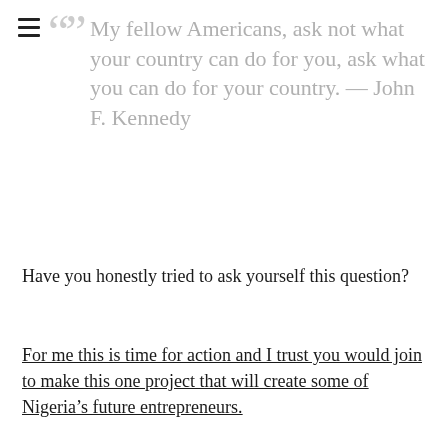“” My fellow Americans, ask not what your country can do for you, ask what you can do for your country. — John F. Kennedy
Have you honestly tried to ask yourself this question?
For me this is time for action and I trust you would join to make this one project that will create some of Nigeria’s future entrepreneurs.